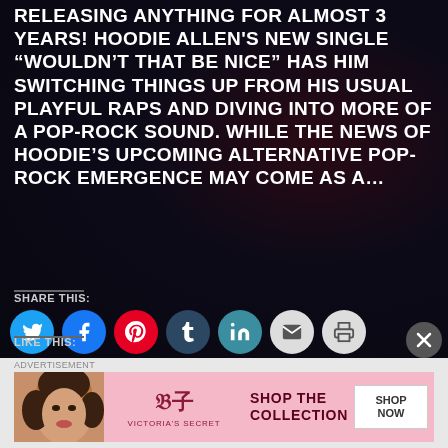RELEASING ANYTHING FOR ALMOST 3 YEARS! HOODIE ALLEN'S NEW SINGLE “WOULDN’T THAT BE NICE” HAS HIM SWITCHING THINGS UP FROM HIS USUAL PLAYFUL RAPS AND DIVING INTO MORE OF A POP-ROCK SOUND. WHILE THE NEWS OF HOODIE’S UPCOMING ALTERNATIVE POP-ROCK EMERGENCE MAY COME AS A…
SHARE THIS:
[Figure (infographic): Social share buttons: Twitter (blue), Facebook (blue), Pinterest (red), Tumblr (dark blue), LinkedIn (teal), Email (light gray), Print (light gray) - all circular icons]
LIKE THIS:
[Figure (infographic): Victoria's Secret advertisement banner: woman's face on left, VS logo in center, 'SHOP THE COLLECTION' text, 'SHOP NOW' white button on right, pink background]